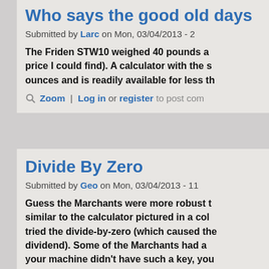Who says the good old days
Submitted by Larc on Mon, 03/04/2013 - 2
The Friden STW10 weighed 40 pounds a price I could find). A calculator with the s ounces and is readily available for less th
Zoom | Log in or register to post com
Divide By Zero
Submitted by Geo on Mon, 03/04/2013 - 11
Guess the Marchants were more robust t similar to the calculator pictured in a col tried the divide-by-zero (which caused the dividend). Some of the Marchants had a your machine didn't have such a key, you